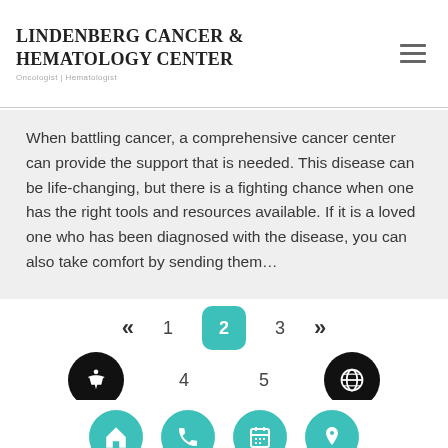[Figure (logo): Lindenberg Cancer & Hematology Center logo with subtitle 'Oncologist | Hematologist']
When battling cancer, a comprehensive cancer center can provide the support that is needed. This disease can be life-changing, but there is a fighting chance when one has the right tools and resources available. If it is a loved one who has been diagnosed with the disease, you can also take comfort by sending them…
[Figure (infographic): Pagination navigation with double-angle brackets, page numbers 1, 2 (active/highlighted in teal), 3, 4, 5, and forward double-angle bracket]
[Figure (infographic): Bottom navigation bar with four teal circular icon buttons: home, phone, calendar, location pin]